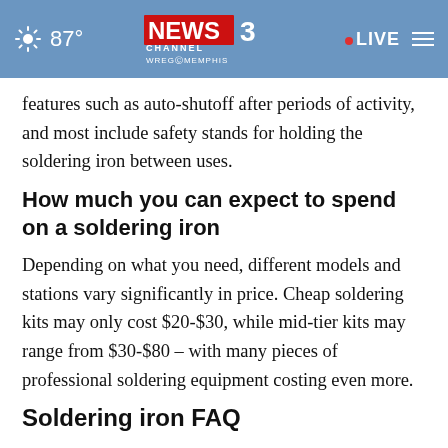87° NEWS CHANNEL 3 WREG MEMPHIS • LIVE
features such as auto-shutoff after periods of activity, and most include safety stands for holding the soldering iron between uses.
How much you can expect to spend on a soldering iron
Depending on what you need, different models and stations vary significantly in price. Cheap soldering kits may only cost $20-$30, while mid-tier kits may range from $30-$80 – with many pieces of professional soldering equipment costing even more.
Soldering iron FAQ